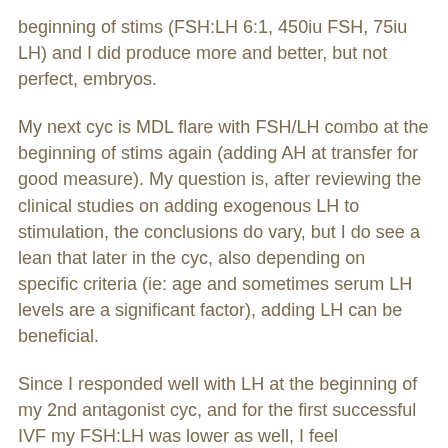beginning of stims (FSH:LH 6:1, 450iu FSH, 75iu LH) and I did produce more and better, but not perfect, embryos.
My next cyc is MDL flare with FSH/LH combo at the beginning of stims again (adding AH at transfer for good measure). My question is, after reviewing the clinical studies on adding exogenous LH to stimulation, the conclusions do vary, but I do see a lean that later in the cyc, also depending on specific criteria (ie: age and sometimes serum LH levels are a significant factor), adding LH can be beneficial.
Since I responded well with LH at the beginning of my 2nd antagonist cyc, and for the first successful IVF my FSH:LH was lower as well, I feel comfortable with adding LH at the beginning of stimulation, even with the FSH/LH flare that it will start with. (maybe I'm one of those whose pituitary doesn't secrete the needed amount of LH?)